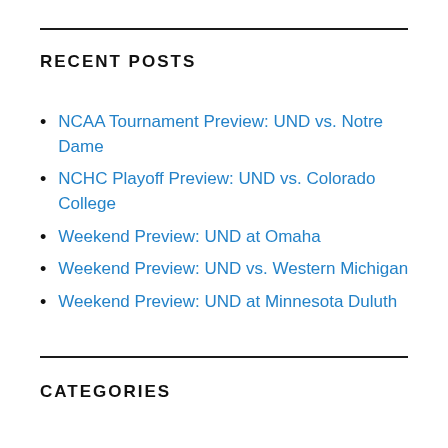RECENT POSTS
NCAA Tournament Preview: UND vs. Notre Dame
NCHC Playoff Preview: UND vs. Colorado College
Weekend Preview: UND at Omaha
Weekend Preview: UND vs. Western Michigan
Weekend Preview: UND at Minnesota Duluth
CATEGORIES